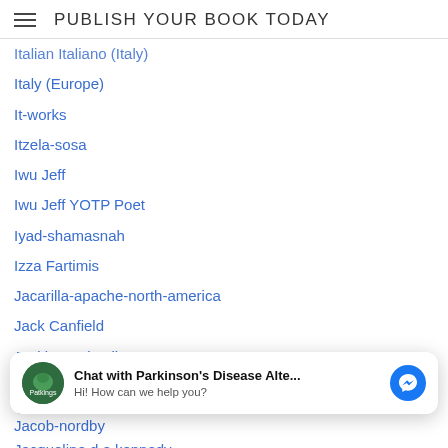PUBLISH YOUR BOOK TODAY
Italian Italiano (Italy)
Italy (Europe)
It-works
Itzela-sosa
Iwu Jeff
Iwu Jeff YOTP Poet
Iyad-shamasnah
Izza Fartimis
Jacarilla-apache-north-america
Jack Canfield
Jackie Davis Allen
Jackie Mead (UK)
Jack Kessler
Jack Maze
[Figure (screenshot): Chat popup: Chat with Parkinson's Disease Alte... Hi! How can we help you? with messenger icon]
Jacob-nordby
Jacqueline d o kennedy